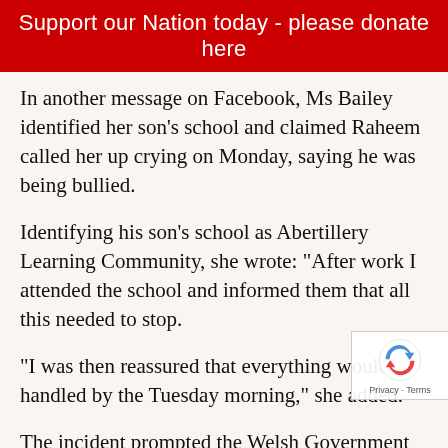Support our Nation today - please donate here
In another message on Facebook, Ms Bailey identified her son’s school and claimed Raheem called her up crying on Monday, saying he was being bullied.
Identifying his son’s school as Abertillery Learning Community, she wrote: “After work I attended the school and informed them that all this needed to stop.
“I was then reassured that everything would be handled by the Tuesday morning,” she added.
The incident prompted the Welsh Government to release a statement, saying: “We condemn bullying and racial harassment in any form and expect allegations and incidents of bullying and racial be fully investigated by schools with appropriate